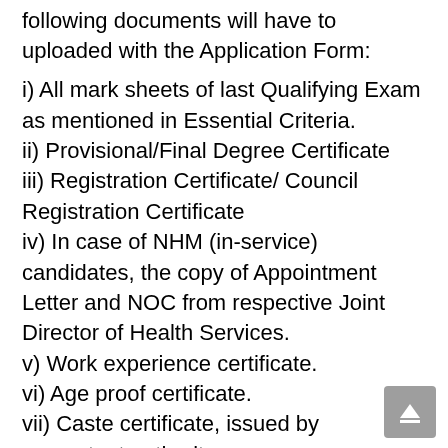following documents will have to uploaded with the Application Form:
i) All mark sheets of last Qualifying Exam as mentioned in Essential Criteria.
ii) Provisional/Final Degree Certificate
iii) Registration Certificate/ Council Registration Certificate
iv) In case of NHM (in-service) candidates, the copy of Appointment Letter and NOC from respective Joint Director of Health Services.
v) Work experience certificate.
vi) Age proof certificate.
vii) Caste certificate, issued by competent authority.
Applicants must submit their documents offline to the At...